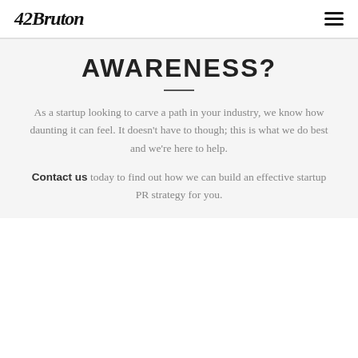42Bruton
AWARENESS?
As a startup looking to carve a path in your industry, we know how daunting it can feel. It doesn't have to though; this is what we do best and we're here to help.
Contact us today to find out how we can build an effective startup PR strategy for you.